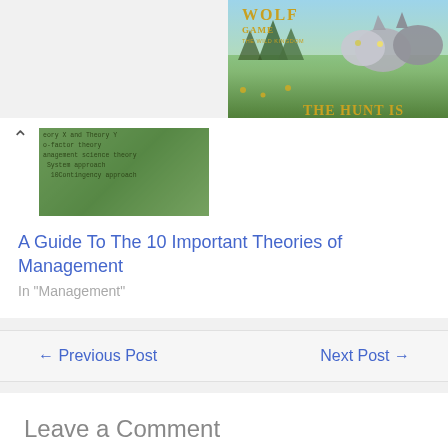[Figure (photo): Wolf Game advertisement banner showing wolves in a meadow with text 'Wolf Game The Wild Kingdom' and 'THE HUNT IS']
[Figure (screenshot): Thumbnail image showing a green table of contents overlay with text listing management theories including Theory X and Theory Y, two-factor theory, management science theory, System approach, Contingency approach]
A Guide To The 10 Important Theories of Management
In "Management"
← Previous Post
Next Post →
Leave a Comment
Your email address will not be